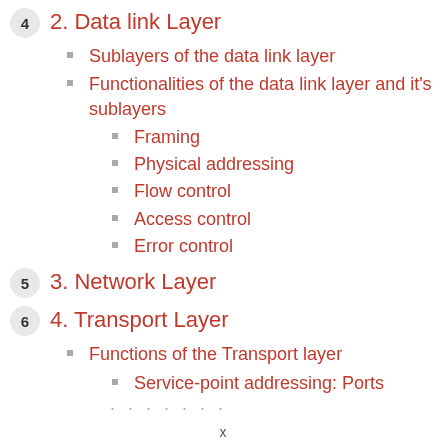4  2. Data link Layer
Sublayers of the data link layer
Functionalities of the data link layer and it's sublayers
Framing
Physical addressing
Flow control
Access control
Error control
5  3. Network Layer
6  4. Transport Layer
Functions of the Transport layer
Service-point addressing: Ports
x